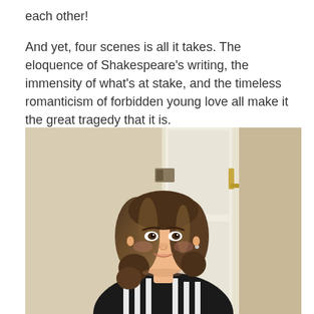each other!

And yet, four scenes is all it takes. The eloquence of Shakespeare's writing, the immensity of what's at stake, and the timeless romanticism of forbidden young love all make it the great tragedy that it is.
[Figure (photo): A young woman with brown wavy hair, smiling, wearing a black and white striped top, standing in front of a door in a room with beige/neutral walls.]